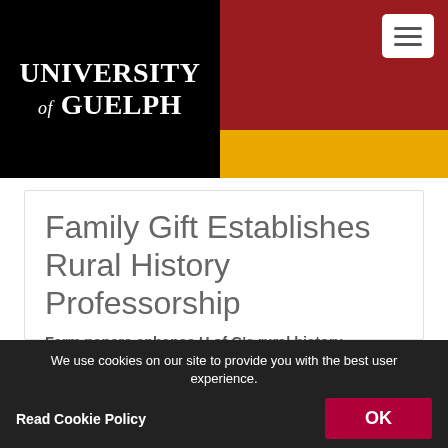[Figure (logo): University of Guelph logo on black background with red and gold header]
Family Gift Establishes Rural History Professorship
Farm papers enhance U of G's rural history archives
Tuesday, November 5, 2013
We use cookies on our site to provide you with the best user experience. Read Cookie Policy  OK